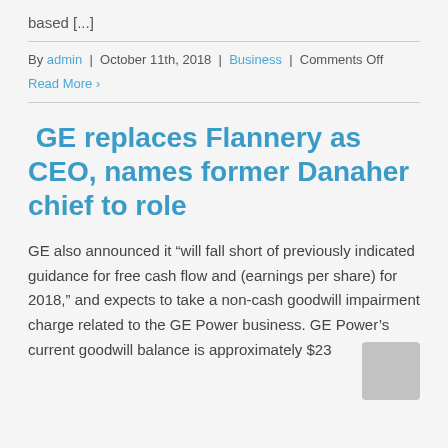based [...]
By admin | October 11th, 2018 | Business | Comments Off
Read More >
GE replaces Flannery as CEO, names former Danaher chief to role
GE also announced it "will fall short of previously indicated guidance for free cash flow and (earnings per share) for 2018," and expects to take a non-cash goodwill impairment charge related to the GE Power business. GE Power's current goodwill balance is approximately $23